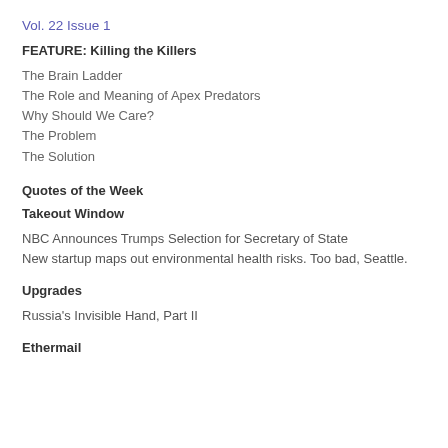Vol. 22 Issue 1
FEATURE: Killing the Killers
The Brain Ladder
The Role and Meaning of Apex Predators
Why Should We Care?
The Problem
The Solution
Quotes of the Week
Takeout Window
NBC Announces Trumps Selection for Secretary of State
New startup maps out environmental health risks. Too bad, Seattle.
Upgrades
Russia's Invisible Hand, Part II
Ethermail